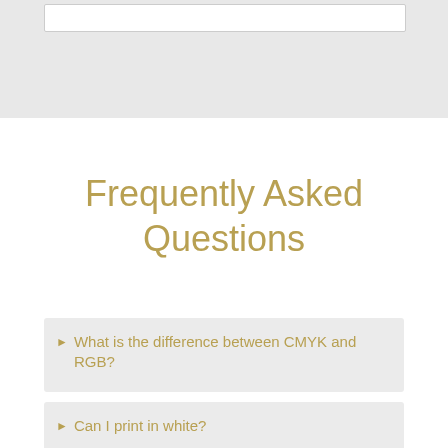Frequently Asked Questions
What is the difference between CMYK and RGB?
Can I print in white?
What are bleed, trim and safe-area?